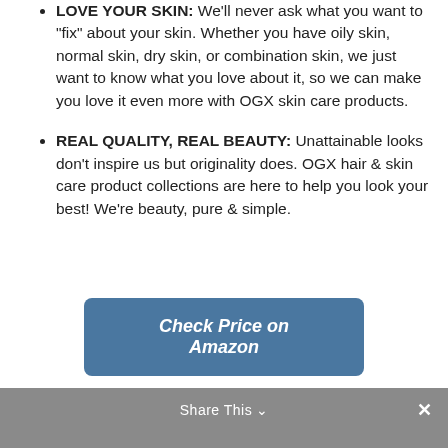LOVE YOUR SKIN: We'll never ask what you want to "fix" about your skin. Whether you have oily skin, normal skin, dry skin, or combination skin, we just want to know what you love about it, so we can make you love it even more with OGX skin care products.
REAL QUALITY, REAL BEAUTY: Unattainable looks don't inspire us but originality does. OGX hair & skin care product collections are here to help you look your best! We're beauty, pure & simple.
Check Price on Amazon
Share This
Scrubzz Disposable No Rinse